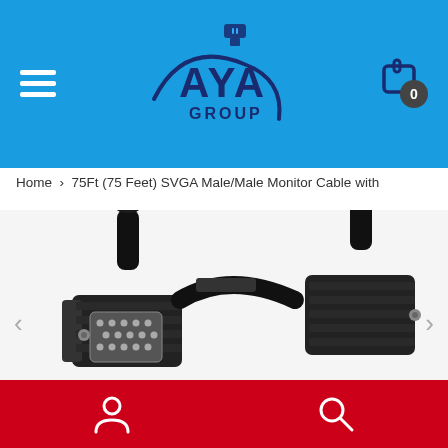[Figure (logo): AYA Group logo with USB cable icon in dark blue on blue background]
Home  >  75Ft (75 Feet) SVGA Male/Male Monitor Cable with
[Figure (photo): Black SVGA VGA male to male monitor cable connectors closeup on white background]
[Figure (infographic): Red footer bar with white person icon and white search/magnifying glass icon]